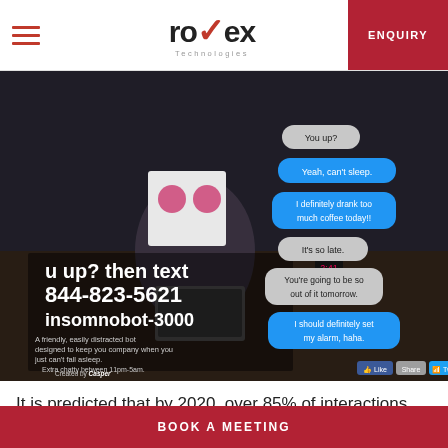royex Technologies | ENQUIRY
[Figure (screenshot): Screenshot of Casper's insomnobot-3000 chatbot advertisement. Dark photo of a person sitting on a couch at night with a box-robot head using a laptop. Chat bubbles on the right show a conversation: 'You up?', 'Yeah, can't sleep.', 'I definitely drank too much coffee today!!', 'It's so late.', 'You're going to be so out of it tomorrow.', 'I should definitely set my alarm, haha.', 'Although maybe I should just call out sick to work?'. Text overlay: 'u up? then text 844-823-5621 insomnobot-3000. A friendly, easily distracted bot designed to keep you company when you just can't fall asleep. Extra chatty between 11pm-5am. Created by Casper'. Like, Share, Tweet buttons at bottom right.]
It is predicted that by 2020, over 85% of interactions with
BOOK A MEETING